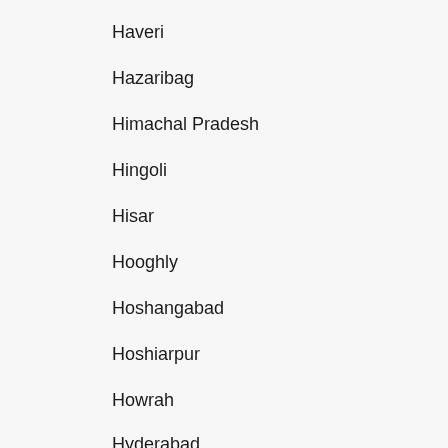Haveri
Hazaribag
Himachal Pradesh
Hingoli
Hisar
Hooghly
Hoshangabad
Hoshiarpur
Howrah
Hyderabad